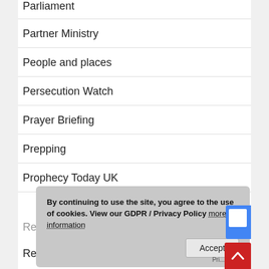Parliament
Partner Ministry
People and places
Persecution Watch
Prayer Briefing
Prepping
Prophecy Today UK
Reader recommends
Resources
By continuing to use the site, you agree to the use of cookies. View our GDPR / Privacy Policy more information
Accept